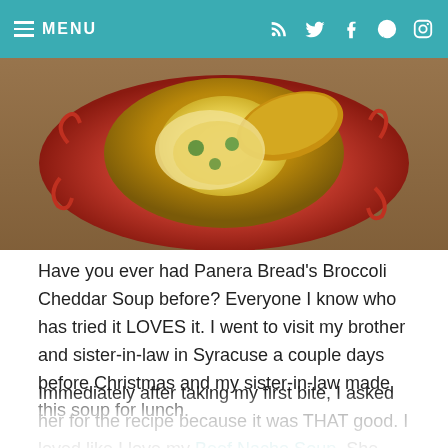MENU
[Figure (photo): A red ceramic plate with a sourdough bread bowl filled with broccoli cheddar soup, photographed from above on a wooden table.]
Have you ever had Panera Bread's Broccoli Cheddar Soup before?  Everyone I know who has tried it LOVES it.  I went to visit my brother and sister-in-law in Syracuse a couple days before Christmas and my sister-in-law made this soup for lunch.
Immediately after taking my first bite, I asked her for the recipe because it was THAT good. I loved like I love my Beef Nacho Soup. She made it with vegetable broth since my aunts that were eating lunch with us that day are both vegetarian.  I just loved it so much and knew I had to make it at home right away so my hubby could try it.